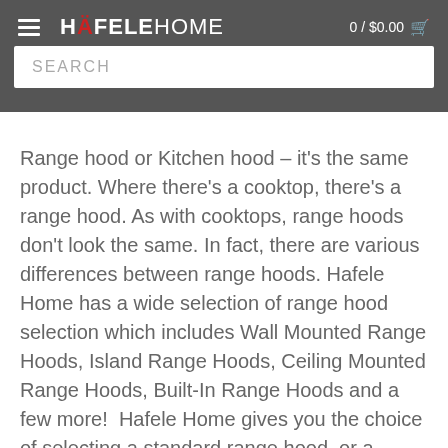HÄFELE HOME  0 / $0.00
Range hood or Kitchen hood – it's the same product. Where there's a cooktop, there's a range hood. As with cooktops, range hoods don't look the same. In fact, there are various differences between range hoods. Hafele Home has a wide selection of range hood selection which includes Wall Mounted Range Hoods, Island Range Hoods, Ceiling Mounted Range Hoods, Built-In Range Hoods and a few more!  Hafele Home gives you the choice of selecting a standard range hood, or a range hood out of the impressionist range with many features. The choice of your range hood should always have the full picture in mind and